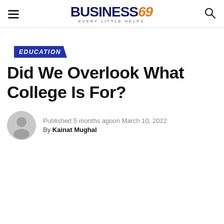BUSINESS69 EVERY LITTLE HELPS
EDUCATION
Did We Overlook What College Is For?
Published 5 months agoon March 10, 2022
By Kainat Mughal